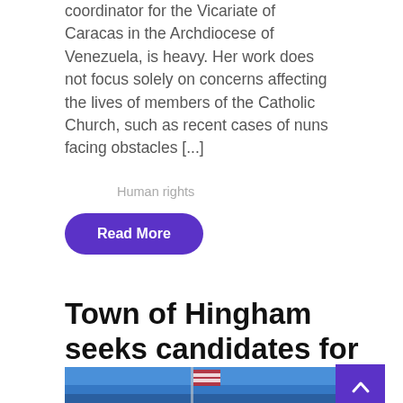coordinator for the Vicariate of Caracas in the Archdiocese of Venezuela, is heavy. Her work does not focus solely on concerns affecting the lives of members of the Catholic Church, such as recent cases of nuns facing obstacles [...]
Human rights
Read More
Town of Hingham seeks candidates for new...
[Figure (photo): Photograph showing American flags and flagpoles against a blue sky, with a building or dome visible below]